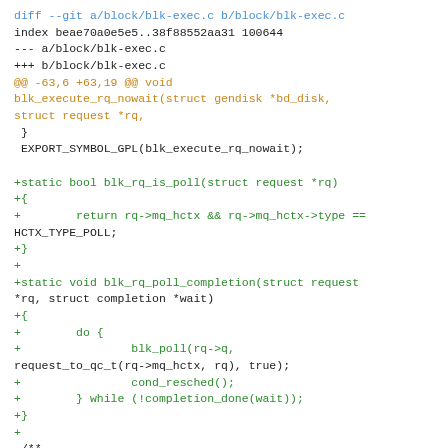[Figure (screenshot): A unified diff (git diff) of block/blk-exec.c showing added functions blk_rq_is_poll and blk_rq_poll_completion, plus the beginning of a doxygen comment for blk_execute_rq. Lines are color-coded: blue for diff headers, orange for hunk headers and context function signature, green for added lines, black for unchanged lines.]